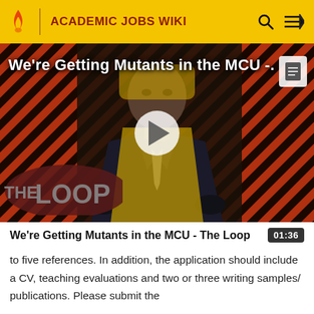ACADEMIC JOBS WIKI
[Figure (screenshot): Video thumbnail showing a bald man in a suit seated in a chair, with a red and black diagonal stripe background and 'THE LOOP' logo overlay. Title reads: We're Getting Mutants in the MCU - The Loop. A white play button is centered on the thumbnail.]
We're Getting Mutants in the MCU - The Loop
to five references. In addition, the application should include a CV, teaching evaluations and two or three writing samples/ publications. Please submit the